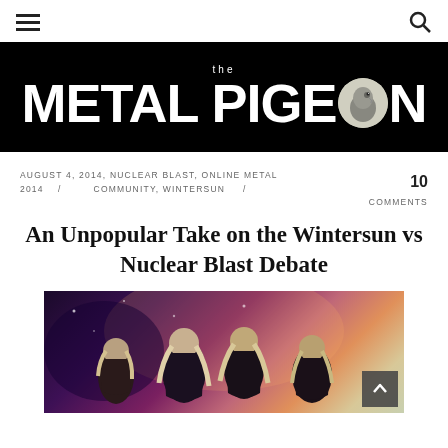☰ [hamburger menu] [search icon]
[Figure (logo): The Metal Pigeon logo — white bold text on black background, with a circular pigeon illustration replacing the letter O in PIGEON]
AUGUST 4, 2014, NUCLEAR BLAST, ONLINE METAL 2014 / COMMUNITY, WINTERSUN / 10 COMMENTS
An Unpopular Take on the Wintersun vs Nuclear Blast Debate
[Figure (photo): Band photo of Wintersun members with long hair, against a fantasy/nature background with purple, pink, and warm sky tones]